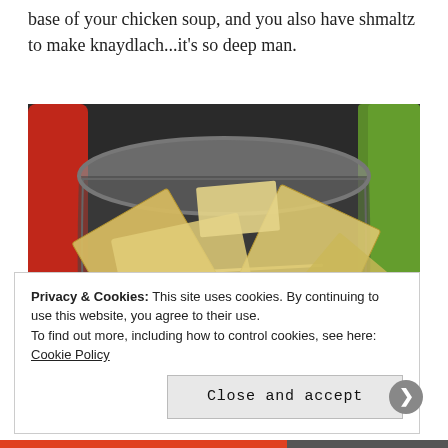base of your chicken soup, and you also have shmaltz to make knaydlach...it's so deep man.
[Figure (photo): Photo of broken matzah crackers inside a large blender jar, with a red mixer and green strainer visible in the background, shot in a kitchen setting.]
Privacy & Cookies: This site uses cookies. By continuing to use this website, you agree to their use.
To find out more, including how to control cookies, see here: Cookie Policy
Close and accept